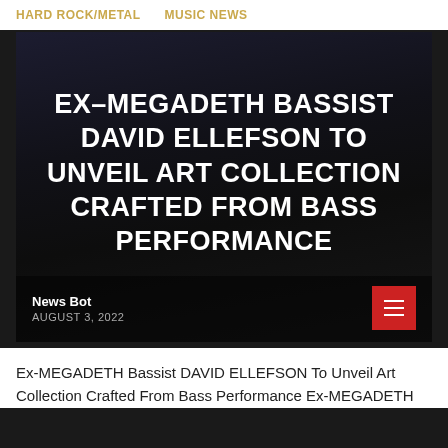HARD ROCK/METAL   MUSIC NEWS
[Figure (photo): Dark atmospheric hero image with overlaid white bold text reading: EX-MEGADETH BASSIST DAVID ELLEFSON TO UNVEIL ART COLLECTION CRAFTED FROM BASS PERFORMANCE]
EX-MEGADETH BASSIST DAVID ELLEFSON TO UNVEIL ART COLLECTION CRAFTED FROM BASS PERFORMANCE
News Bot
AUGUST 3, 2022
Ex-MEGADETH Bassist DAVID ELLEFSON To Unveil Art Collection Crafted From Bass Performance Ex-MEGADETH Bassist DAVID ELLEFSON To Unveil Art Collection Crafted From Bass Performance Read the full article at Blabbermouth!